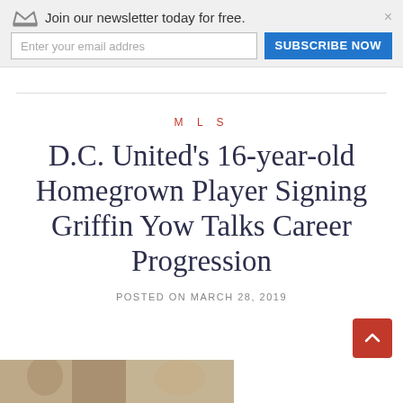Join our newsletter today for free. Enter your email addres [input] SUBSCRIBE NOW [×]
MLS
D.C. United's 16-year-old Homegrown Player Signing Griffin Yow Talks Career Progression
POSTED ON MARCH 28, 2019
[Figure (photo): Partial photo visible at bottom of page, appears to show people outdoors]